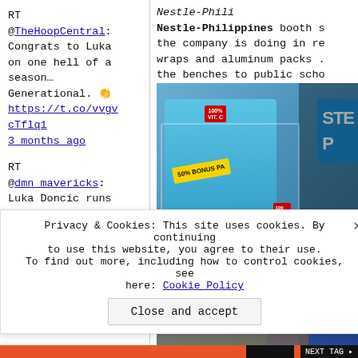RT @TheHoopCentral: Congrats to Luka on one hell of a season… Generational. 👏 https://t.co/vvgvcTflq1
3 months ago
RT @dmn_mavericks: Luka Doncic runs out of heroics, Mavs' playoff run ends in Game 5 loss to Warriors
Nestle-Philippines booth s... the company is doing in re... wraps and aluminum packs ... the benches to public scho...
[Figure (photo): Photo of Nestle-Philippines booth showing blue product packages with '100% Vit. C' and '50% BONUS PACK' labels in an acrylic display stand, with a 'STEP' sign visible on the right]
Privacy & Cookies: This site uses cookies. By continuing to use this website, you agree to their use. To find out more, including how to control cookies, see here: Cookie Policy
Close and accept